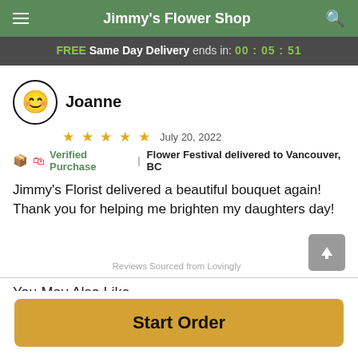Jimmy's Flower Shop
FREE Same Day Delivery ends in: 00 : 05 : 51
Joanne
★ ★ ★ ★ ★   July 20, 2022
🏷 Verified Purchase  |  Flower Festival delivered to Vancouver, BC
Jimmy's Florist delivered a beautiful bouquet again! Thank you for helping me brighten my daughters day!
Reviews Sourced from Lovingly
You May Also Like
Start Order